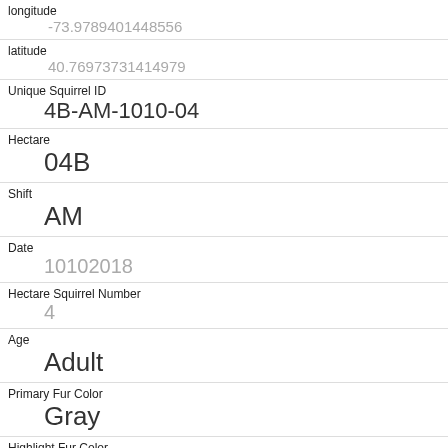| Field | Value |
| --- | --- |
| longitude | -73.9789401448556 |
| latitude | 40.76973731414979 |
| Unique Squirrel ID | 4B-AM-1010-04 |
| Hectare | 04B |
| Shift | AM |
| Date | 10102018 |
| Hectare Squirrel Number | 4 |
| Age | Adult |
| Primary Fur Color | Gray |
| Highlight Fur Color | Cinnamon |
| Combination of Primary and Highlight Color |  |